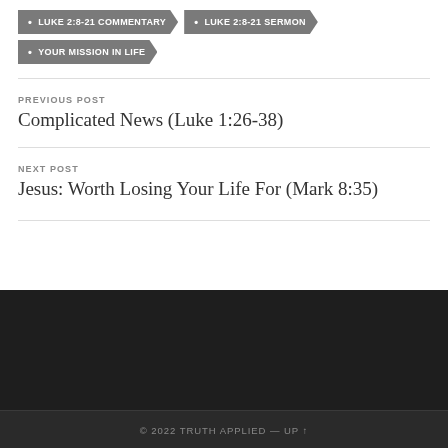LUKE 2:8-21 COMMENTARY
LUKE 2:8-21 SERMON
YOUR MISSION IN LIFE
PREVIOUS POST
Complicated News (Luke 1:26-38)
NEXT POST
Jesus: Worth Losing Your Life For (Mark 8:35)
© 2022 TRUTH APPLIED — UP ↑